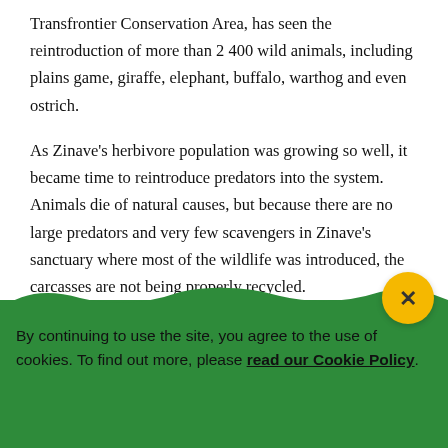Transfrontier Conservation Area, has seen the reintroduction of more than 2 400 wild animals, including plains game, giraffe, elephant, buffalo, warthog and even ostrich.
As Zinave's herbivore population was growing so well, it became time to reintroduce predators into the system. Animals die of natural causes, but because there are no large predators and very few scavengers in Zinave's sanctuary where most of the wildlife was introduced, the carcasses are not being properly recycled.
By continuing to use the site, you agree to the use of cookies. To find out more, please read our Cookie Policy.